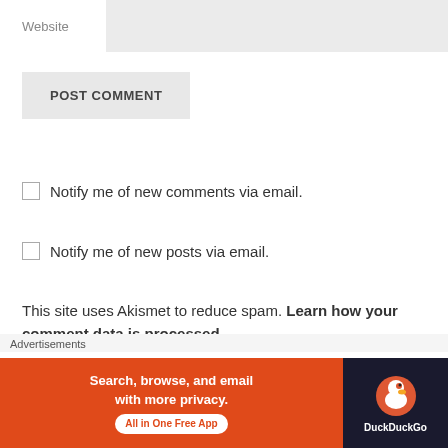Website
[Figure (other): POST COMMENT button — a gray rectangular button with bold uppercase text]
Notify me of new comments via email.
Notify me of new posts via email.
This site uses Akismet to reduce spam. Learn how your comment data is processed.
PREVIOUS POST
Nostalgia | California Daydreamin'
Advertisements
[Figure (other): DuckDuckGo advertisement banner: orange left side with text 'Search, browse, and email with more privacy. All in One Free App' and dark right side with DuckDuckGo duck logo and brand name]